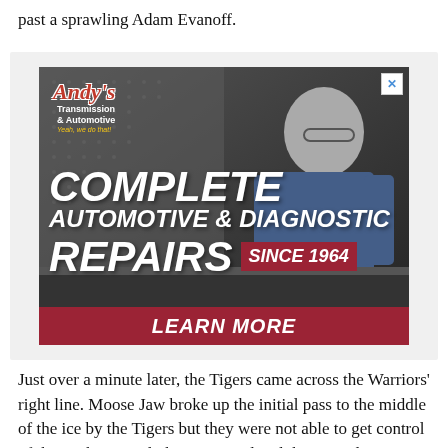past a sprawling Adam Evanoff.
[Figure (photo): Advertisement for Andy's Transmission & Automotive showing a man in a blue shirt in a garage setting. Text reads: Andy's Transmission & Automotive, Yeah, we do that!, COMPLETE AUTOMOTIVE & DIAGNOSTIC REPAIRS SINCE 1964, LEARN MORE]
Just over a minute later, the Tigers came across the Warriors' right line. Moose Jaw broke up the initial pass to the middle of the ice by the Tigers but they were not able to get control of the puck. Instead, the Tigers utilized the second opportunity to set up Daniel Baker on top of the left